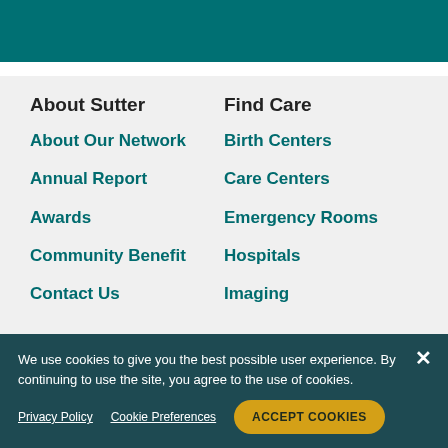About Sutter
Find Care
About Our Network
Birth Centers
Annual Report
Care Centers
Awards
Emergency Rooms
Community Benefit
Hospitals
Contact Us
Imaging
We use cookies to give you the best possible user experience. By continuing to use the site, you agree to the use of cookies.
Privacy Policy   Cookie Preferences   ACCEPT COOKIES